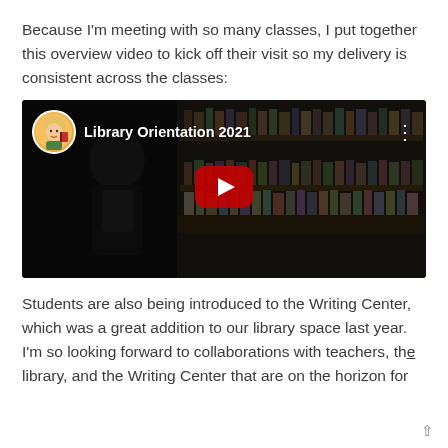Because I'm meeting with so many classes, I put together this overview video to kick off their visit so my delivery is consistent across the classes:
[Figure (screenshot): Embedded YouTube video thumbnail titled 'Library Orientation 2021' showing a dark library scene with bookshelves and a student, with a red play button in the center and a cartoon avatar in the top left corner.]
Students are also being introduced to the Writing Center, which was a great addition to our library space last year. I'm so looking forward to collaborations with teachers, the library, and the Writing Center that are on the horizon for